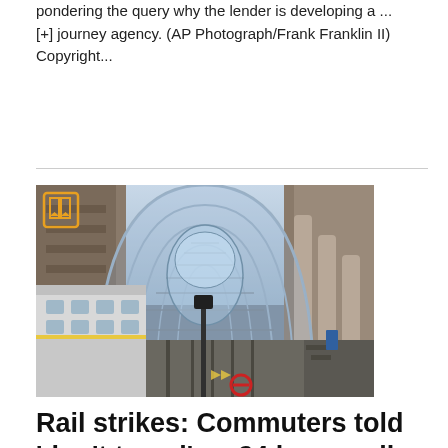pondering the query why the lender is developing a ... [+] journey agency. (AP Photograph/Frank Franklin II) Copyright...
[Figure (photo): Interior of a large train station with an arched glass and steel roof, a train on the left platform, tracks in the center, and station pillars on the right. An orange bookmark icon overlay appears in the top-left corner of the image.]
Rail strikes: Commuters told 'don't travel' as 24 hour walk-out starts TODAY – as union